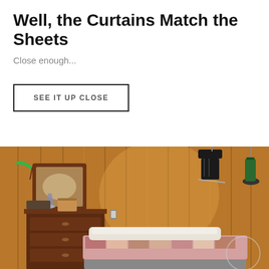Well, the Curtains Match the Sheets
Close enough...
SEE IT UP CLOSE
[Figure (photo): Bedroom interior with wood-paneled walls. A dresser with mirror, small lamp, wooden box, and items on top is visible on the left. Ice skates hang on the wall center-right. A lamp/candelabra is mounted upper right. A bed with a patterned quilt/comforter is in the foreground center-right.]